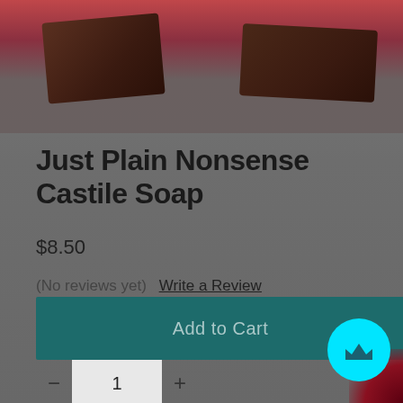[Figure (photo): Product photo of dark brown castile soap bars on a reddish-dark background, partially cropped at top]
Just Plain Nonsense Castile Soap
$8.50
(No reviews yet)  Write a Review
Quantity:
1
Add to Cart